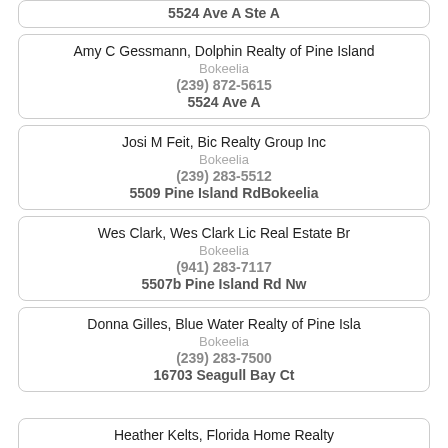5524 Ave A Ste A
Amy C Gessmann, Dolphin Realty of Pine Island
Bokeelia
(239) 872-5615
5524 Ave A
Josi M Feit, Bic Realty Group Inc
Bokeelia
(239) 283-5512
5509 Pine Island RdBokeelia
Wes Clark, Wes Clark Lic Real Estate Br
Bokeelia
(941) 283-7117
5507b Pine Island Rd Nw
Donna Gilles, Blue Water Realty of Pine Isla
Bokeelia
(239) 283-7500
16703 Seagull Bay Ct
Heather Kelts, Florida Home Realty
Bokeelia
(239) 283-4058
16661 Seagull Bay Ct
Danielle Decastro, Florida Home Realty
Bokeelia